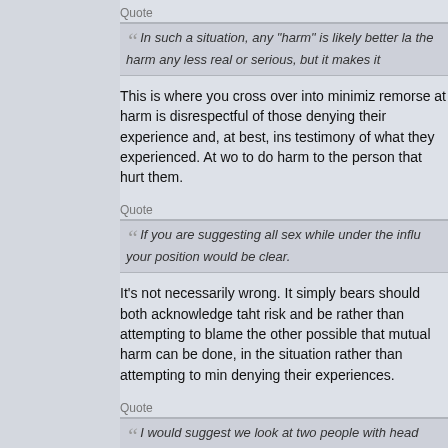Quote
In such a situation, any "harm" is likely better la... the harm any less real or serious, but it makes it...
This is where you cross over into minimiz... remorse at harm is disrespectful of those... denying their experience and, at best, ins... testimony of what they experienced. At wo... to do harm to the person that hurt them.
Quote
If you are suggesting all sex while under the influ... your position would be clear.
It's not necessarily wrong. It simply bears... should both acknowledge taht risk and be... rather than attempting to blame the other... possible that mutual harm can be done, in... the situation rather than attempting to min... denying their experiences.
Quote
I would suggest we look at two people with head... other on the side walk. They share equal fault.